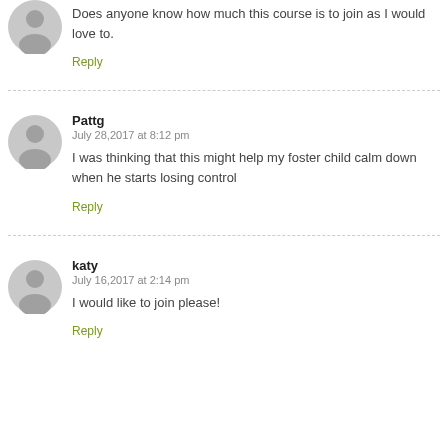Does anyone know how much this course is to join as I would love to.
Reply
Pattg
July 28,2017 at 8:12 pm
I was thinking that this might help my foster child calm down when he starts losing control
Reply
katy
July 16,2017 at 2:14 pm
I would like to join please!
Reply